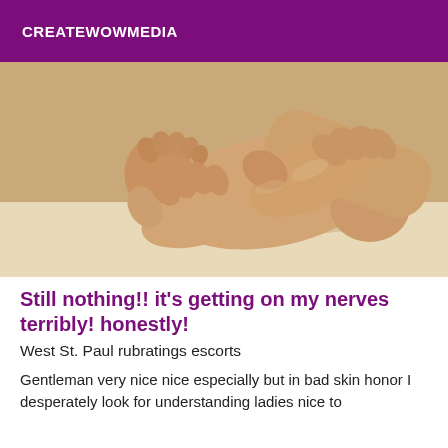CREATEWOWMEDIA
[Figure (photo): Close-up photo of two hands performing a foot massage, with fingers pressing on the sole and toes of a foot, on a light beige background]
Still nothing!! it's getting on my nerves terribly! honestly!
West St. Paul rubratings escorts
Gentleman very nice nice especially but in bad skin honor I desperately look for understanding ladies nice to